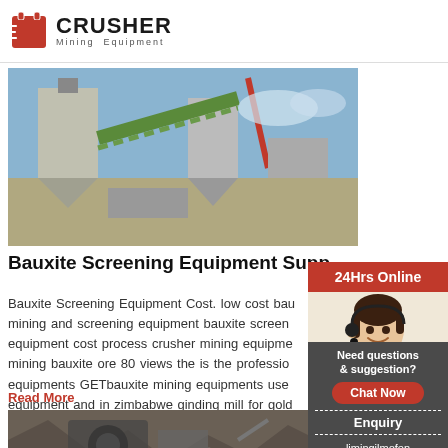[Figure (logo): Crusher Mining Equipment logo with red shopping bag icon and bold CRUSHER text]
[Figure (photo): Industrial mining/screening facility with conveyor belts and large hoppers against a sky background]
Bauxite Screening Equipment Supp
Bauxite Screening Equipment Cost. low cost bau mining and screening equipment bauxite screen equipment cost process crusher mining equipme mining bauxite ore 80 views the is the professio equipments GETbauxite mining equipments use equipment and in zimbabwe ginding mill for gold of small gold mining equipment cost
Read More
[Figure (photo): Second mining equipment photo showing machinery and rock material]
[Figure (infographic): Sidebar with 24Hrs Online header, customer service representative photo, Need questions & suggestion text, Chat Now button, Enquiry section, and limingjlmofen@sina.com email]